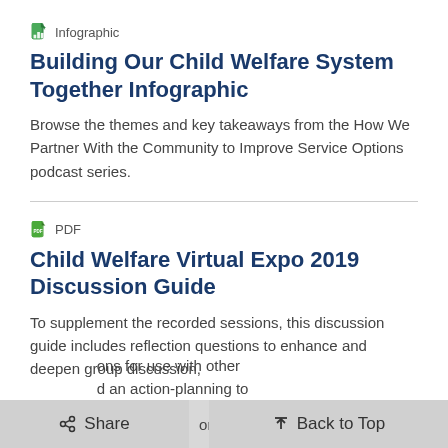Infographic
Building Our Child Welfare System Together Infographic
Browse the themes and key takeaways from the How We Partner With the Community to Improve Service Options podcast series.
PDF
Child Welfare Virtual Expo 2019 Discussion Guide
To supplement the recorded sessions, this discussion guide includes reflection questions to enhance and deepen group discussion, ons for use with other d an action-planning to